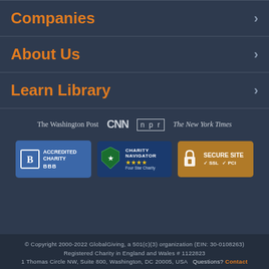Companies
About Us
Learn Library
[Figure (logo): Press logos: The Washington Post, CNN, npr, The New York Times]
[Figure (logo): Trust badges: BBB Accredited Charity, Charity Navigator Four Star Charity, Secure Site SSL PCI]
© Copyright 2000-2022 GlobalGiving, a 501(c)(3) organization (EIN: 30-0108263) Registered Charity in England and Wales # 1122823 1 Thomas Circle NW, Suite 800, Washington, DC 20005, USA  Questions? Contact